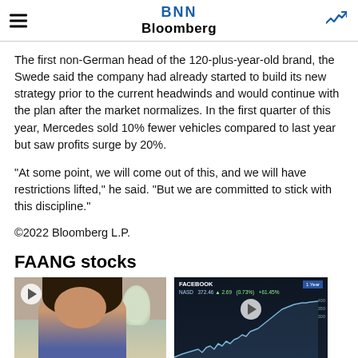BNN Bloomberg
The first non-German head of the 120-plus-year-old brand, the Swede said the company had already started to build its new strategy prior to the current headwinds and would continue with the plan after the market normalizes. In the first quarter of this year, Mercedes sold 10% fewer vehicles compared to last year but saw profits surge by 20%.
“At some point, we will come out of this, and we will have restrictions lifted,” he said. “But we are committed to stick with this discipline.”
©2022 Bloomberg L.P.
FAANG stocks
[Figure (photo): Video thumbnail showing a woman speaking to camera in a home office setting]
[Figure (screenshot): Video thumbnail showing a Facebook stock chart with ticker NASD, price 372.46, change +2.69 (0.73%), +61.45%, 1 Year view]